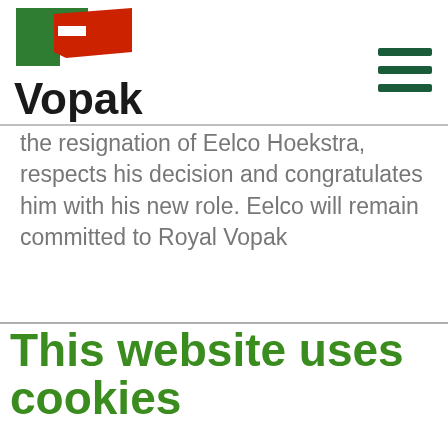Vopak
the resignation of Eelco Hoekstra, respects his decision and congratulates him with his new role. Eelco will remain committed to Royal Vopak
This website uses cookies
We use cookies to personalise content and ads, to provide social media features and to analyse our traffic. We also share information about your use of our site with our social media, advertising and analytics partners who may combine it with other information that you've provided to them or that they've collected from your use of their services. You consent to our cookies if you continue to use our website.
OK
Necessary  Preferences  Statistics  Marketing  Show details